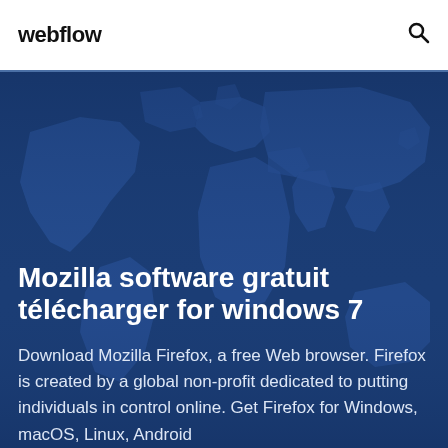webflow
[Figure (illustration): World map graphic with dark blue background and lighter blue continental outlines, used as a decorative hero background image.]
Mozilla software gratuit télécharger for windows 7
Download Mozilla Firefox, a free Web browser. Firefox is created by a global non-profit dedicated to putting individuals in control online. Get Firefox for Windows, macOS, Linux, Android